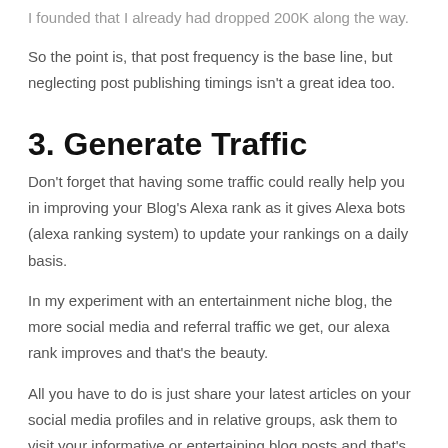I founded that I already had dropped 200K along the way.
So the point is, that post frequency is the base line, but neglecting post publishing timings isn't a great idea too.
3. Generate Traffic
Don't forget that having some traffic could really help you in improving your Blog's Alexa rank as it gives Alexa bots (alexa ranking system) to update your rankings on a daily basis.
In my experiment with an entertainment niche blog, the more social media and referral traffic we get, our alexa rank improves and that's the beauty.
All you have to do is just share your latest articles on your social media profiles and in relative groups, ask them to visit your informative or entertaining blog posts and that's it.